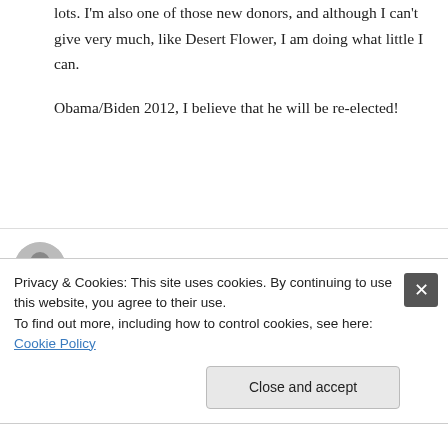lots. I'm also one of those new donors, and although I can't give very much, like Desert Flower, I am doing what little I can.

Obama/Biden 2012, I believe that he will be re-elected!
overseasgranny on July 3, 2011 at 10:13 am
Obama campaign preparing to counter critics on Israel stance
Privacy & Cookies: This site uses cookies. By continuing to use this website, you agree to their use.
To find out more, including how to control cookies, see here: Cookie Policy
Close and accept